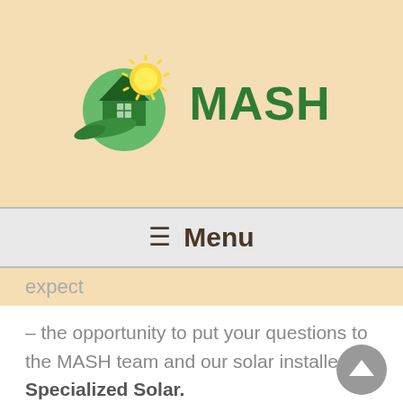[Figure (logo): MASH logo: green circular emblem with a house and yellow sun, with a green bird/wing, next to bold green MASH text]
≡  Menu
expect
– the opportunity to put your questions to the MASH team and our solar installer, Specialized Solar.
Covid Advice